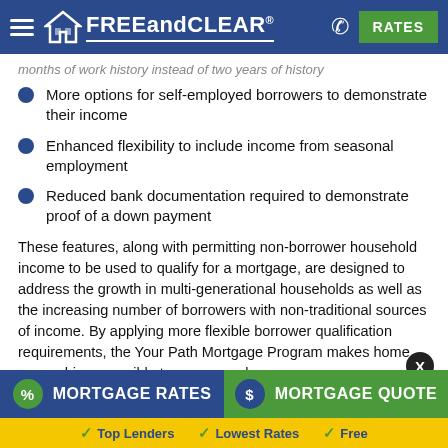FREEandCLEAR
months of work history instead of two years of history
More options for self-employed borrowers to demonstrate their income
Enhanced flexibility to include income from seasonal employment
Reduced bank documentation required to demonstrate proof of a down payment
These features, along with permitting non-borrower household income to be used to qualify for a mortgage, are designed to address the growth in multi-generational households as well as the increasing number of borrowers with non-traditional sources of income. By applying more flexible borrower qualification requirements, the Your Path Mortgage Program makes home ownership accessible to more people.
The Your Path Program competes with conventional low / no down payment programs such as the HomeReady Mortgage Program, Bank of America
MORTGAGE RATES | MORTGAGE QUOTE | Top Lenders | Lowest Rates | Free